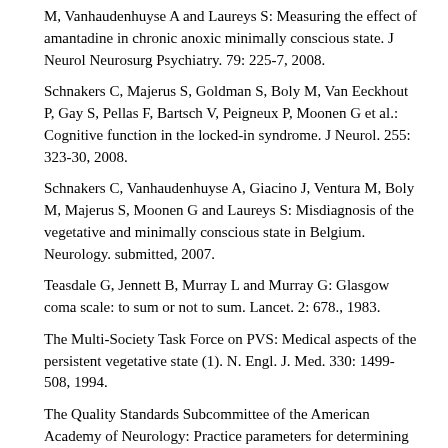M, Vanhaudenhuyse A and Laureys S: Measuring the effect of amantadine in chronic anoxic minimally conscious state. J Neurol Neurosurg Psychiatry. 79: 225-7, 2008.
Schnakers C, Majerus S, Goldman S, Boly M, Van Eeckhout P, Gay S, Pellas F, Bartsch V, Peigneux P, Moonen G et al.: Cognitive function in the locked-in syndrome. J Neurol. 255: 323-30, 2008.
Schnakers C, Vanhaudenhuyse A, Giacino J, Ventura M, Boly M, Majerus S, Moonen G and Laureys S: Misdiagnosis of the vegetative and minimally conscious state in Belgium. Neurology. submitted, 2007.
Teasdale G, Jennett B, Murray L and Murray G: Glasgow coma scale: to sum or not to sum. Lancet. 2: 678., 1983.
The Multi-Society Task Force on PVS: Medical aspects of the persistent vegetative state (1). N. Engl. J. Med. 330: 1499-508, 1994.
The Quality Standards Subcommittee of the American Academy of Neurology: Practice parameters for determining brain death in adults (summary statement). Neurology. 45: 1012-1014, 1995.
University of Pittsburgh Medical Center policy and procedure manual: Management of terminally ill patients who may become organ donors after brain death. Ann Ethic. J. 5: 11-17, 1993.